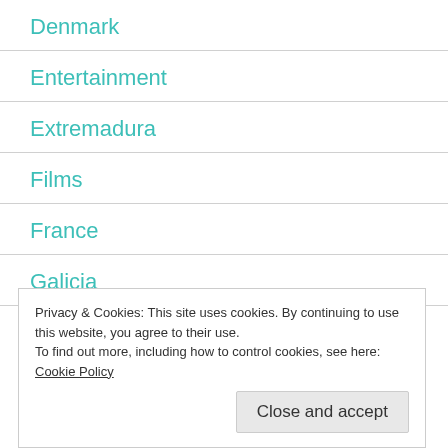Denmark
Entertainment
Extremadura
Films
France
Galicia
Privacy & Cookies: This site uses cookies. By continuing to use this website, you agree to their use.
To find out more, including how to control cookies, see here: Cookie Policy
Close and accept